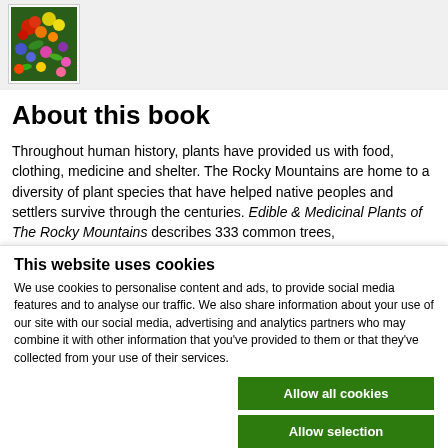[Figure (photo): Small book cover thumbnail showing colorful flowers, for Edible & Medicinal Plants of The Rocky Mountains]
About this book
Throughout human history, plants have provided us with food, clothing, medicine and shelter. The Rocky Mountains are home to a diversity of plant species that have helped native peoples and settlers survive through the centuries. Edible & Medicinal Plants of The Rocky Mountains describes 333 common trees,
This website uses cookies
We use cookies to personalise content and ads, to provide social media features and to analyse our traffic. We also share information about your use of our site with our social media, advertising and analytics partners who may combine it with other information that you've provided to them or that they've collected from your use of their services.
Allow all cookies
Allow selection
Use necessary cookies only